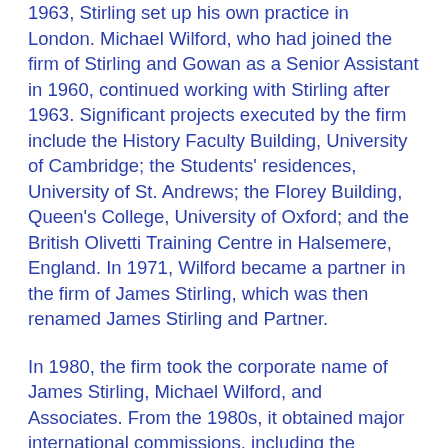1963, Stirling set up his own practice in London. Michael Wilford, who had joined the firm of Stirling and Gowan as a Senior Assistant in 1960, continued working with Stirling after 1963. Significant projects executed by the firm include the History Faculty Building, University of Cambridge; the Students' residences, University of St. Andrews; the Florey Building, Queen's College, University of Oxford; and the British Olivetti Training Centre in Halsemere, England. In 1971, Wilford became a partner in the firm of James Stirling, which was then renamed James Stirling and Partner.
In 1980, the firm took the corporate name of James Stirling, Michael Wilford, and Associates. From the 1980s, it obtained major international commissions, including the prestigious State Gallery Addition and New Chamber Theatre, for which it had won first prize in competition, and the neighbouring Music School and History Museum, both in Stuttgart, Germany. Other important buildings by the firm include the Wissenschaftszentrum Berlin, Germany; the Arthur M. Sackler Museum, in Cambridge, Massachusetts; the Clore Gallery in London; the Performing Arts Centre, Cornell University, in Ithaca, New York; No. 1 Poultry in London; the B. Braun Melsungen AG headquarters and industrial complex in Melsungen, Germany; and the Temasek Polytechnic in Singapore.